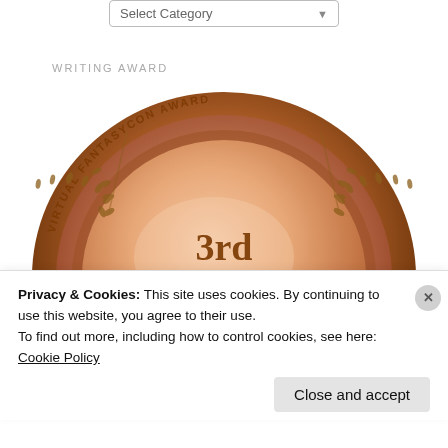[Figure (screenshot): Dropdown selector with label 'Select Category' and a chevron arrow]
WRITING AWARD
[Figure (illustration): Bronze/copper medal award badge reading '3rd Place Romance' with laurel wreath decoration and text 'VIRTUAL FANTASYCON AWARD' around the rim]
Privacy & Cookies: This site uses cookies. By continuing to use this website, you agree to their use.
To find out more, including how to control cookies, see here:
Cookie Policy
Close and accept